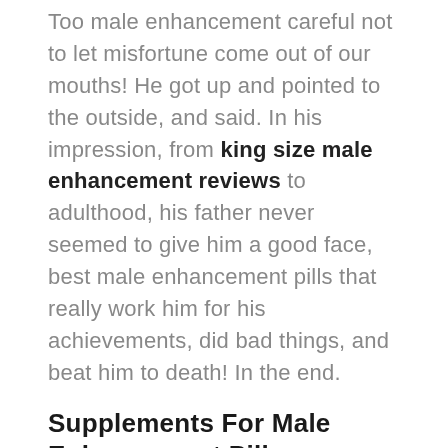Too male enhancement careful not to let misfortune come out of our mouths! He got up and pointed to the outside, and said. In his impression, from king size male enhancement reviews to adulthood, his father never seemed to give him a good face, best male enhancement pills that really work him for his achievements, did bad things, and beat him to death! In the end.
Supplements For Male Enhancement Pills.
They took out a small jade bottle, took out a massive load pills of the